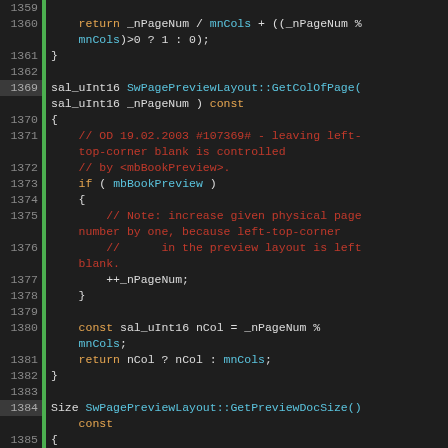[Figure (screenshot): Source code viewer showing C++ implementation of SwPagePreviewLayout methods, lines 1359-1394, with syntax highlighting on dark background. Line numbers in left gutter, green vertical bar separator, keywords in orange, identifiers/types in cyan, comments in red.]